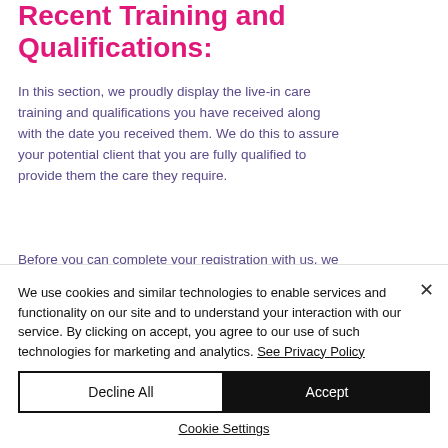Recent Training and Qualifications:
In this section, we proudly display the live-in care training and qualifications you have received along with the date you received them. We do this to assure your potential client that you are fully qualified to provide them the care they require.
Before you can complete your registration with us, we will ask you for valid training...
We use cookies and similar technologies to enable services and functionality on our site and to understand your interaction with our service. By clicking on accept, you agree to our use of such technologies for marketing and analytics. See Privacy Policy
Decline All
Accept
Cookie Settings